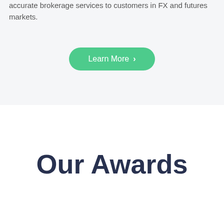accurate brokerage services to customers in FX and futures markets.
[Figure (other): Green rounded button with white text 'Learn More' and a right arrow chevron]
Our Awards